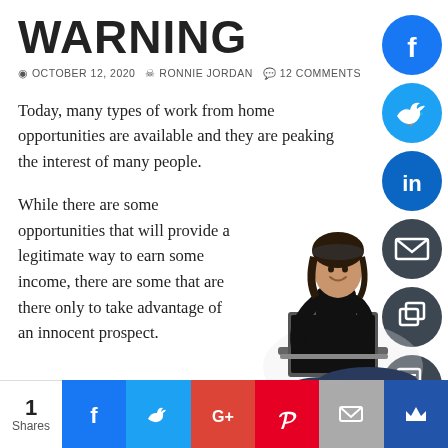WARNING
OCTOBER 12, 2020  RONNIE JORDAN  12 COMMENTS
Today, many types of work from home opportunities are available and they are peaking the interest of many people.
While there are some opportunities that will provide a legitimate way to earn some income, there are some that are there only to take advantage of an innocent prospect.
[Figure (photo): Woman in black outfit sitting with laptop, smiling]
This post will uncover a scam and give everyone a work from home warning. I previously did a post on virtual assistant jobs